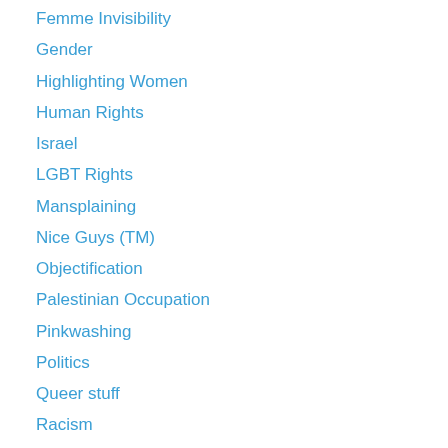Femme Invisibility
Gender
Highlighting Women
Human Rights
Israel
LGBT Rights
Mansplaining
Nice Guys (TM)
Objectification
Palestinian Occupation
Pinkwashing
Politics
Queer stuff
Racism
Rape
Revolutionary Women
Roundup
Sexism
Sexual Violence
Sexualization